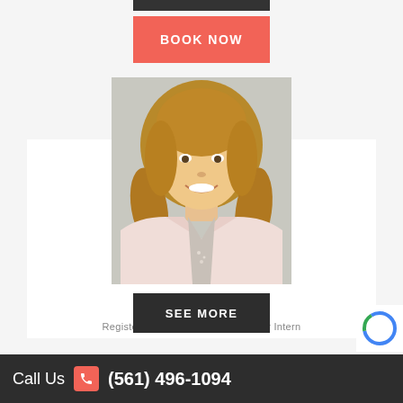[Figure (other): Dark bar at top of page, partially visible]
BOOK NOW
[Figure (photo): Professional headshot of Kara Lyles, MS — a young woman with long blonde wavy hair, wearing a light pink blazer over a patterned top, smiling at camera against neutral background]
Kara Lyles, MS
Registered Mental Health Counselor Intern
SEE MORE
Call Us (561) 496-1094